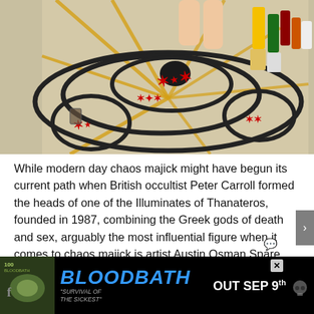[Figure (photo): Overhead view of a large painted canvas or cloth on the floor showing concentric swirling black lines, red ritual sigil symbols, and yellow lines radiating outward, with a partially visible nude figure standing on the canvas and various art supply containers visible to the right.]
While modern day chaos majick might have begun its current path when British occultist Peter Carroll formed the heads of one of the Illuminates of Thanateros, founded in 1987, combining the Greek gods of death and sex, arguably the most influential figure when it comes to chaos majick is artist Austin Osman Spare, who created the Zao Kia Cultus … not the Behemoth song, but a
[Figure (screenshot): Advertisement banner for Bloodbath 'Survival of the Sickest' album. Black background with blue italic bold text 'BLOODBATH', album art on left, subtitle 'Survival of the Sickest', text 'OUT SEP 9th' in white with a decorative skull icon.]